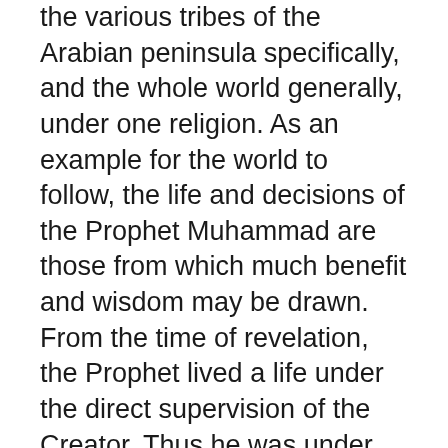the various tribes of the Arabian peninsula specifically, and the whole world generally, under one religion. As an example for the world to follow, the life and decisions of the Prophet Muhammad are those from which much benefit and wisdom may be drawn. From the time of revelation, the Prophet lived a life under the direct supervision of the Creator. Thus he was under protection of God from committing any error in portraying the religion and correct way of life. His each and every action is one which ought to be emulated, as God himself said about him: “Indeed you are upon a high moral standard of character.”
The Prophet was a man bent upon a mission, and his concerns were not those of other